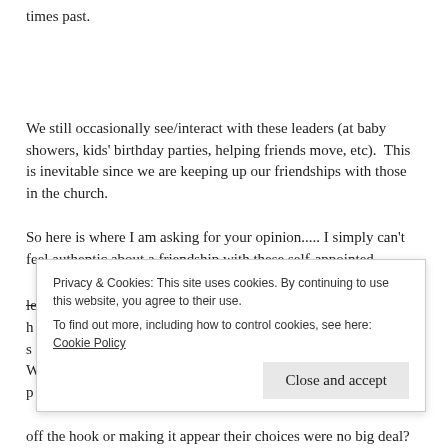times past.
We still occasionally see/interact with these leaders (at baby showers, kids' birthday parties, helping friends move, etc).  This is inevitable since we are keeping up our friendships with those in the church.
So here is where I am asking for your opinion..... I simply can't feel authentic about a friendship with these self-appointed leaders when the issues that turned us away still remain. I h... s... W... p... off the hook or making it appear their choices were no big deal?
Privacy & Cookies: This site uses cookies. By continuing to use this website, you agree to their use.
To find out more, including how to control cookies, see here: Cookie Policy
Close and accept